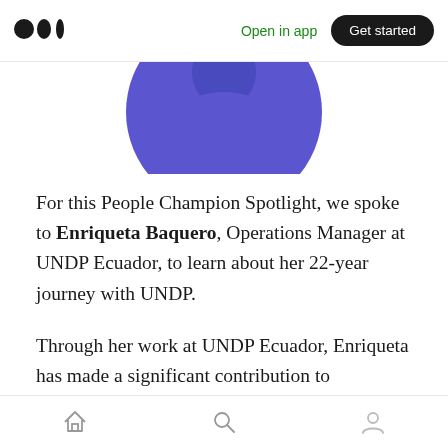Medium logo | Open in app | Get started
[Figure (photo): Circular profile photo of Enriqueta Baquero, partially cropped at top of frame. The image shows the bottom half of a circular avatar with a blue/purple background.]
For this People Champion Spotlight, we spoke to Enriqueta Baquero, Operations Manager at UNDP Ecuador, to learn about her 22-year journey with UNDP.
Through her work at UNDP Ecuador, Enriqueta has made a significant contribution to supporting people in numerous ways — in her roles as Programme Associate, Operations Manager and National Officer, leading the issues
Home | Search | Profile